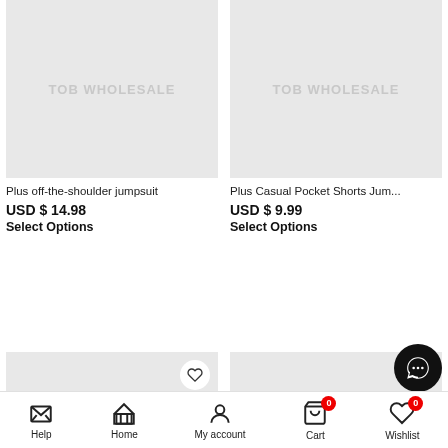[Figure (photo): Product image placeholder for Plus off-the-shoulder jumpsuit with TOB WHOLESALE watermark]
[Figure (photo): Product image placeholder for Plus Casual Pocket Shorts Jumpsuit with TOB WHOLESALE watermark]
Plus off-the-shoulder jumpsuit
USD $ 14.98
Select Options
Plus Casual Pocket Shorts Jum...
USD $ 9.99
Select Options
[Figure (photo): Second row product image placeholder left with TOB WHOLESALE watermark and heart wishlist button]
[Figure (photo): Second row product image placeholder right with TOB WHOLESALE watermark and heart wishlist button]
Help  Home  My account  Cart 0  Wishlist 0